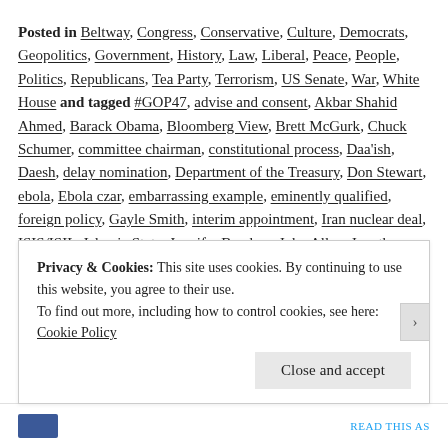Posted in Beltway, Congress, Conservative, Culture, Democrats, Geopolitics, Government, History, Law, Liberal, Peace, People, Politics, Republicans, Tea Party, Terrorism, US Senate, War, White House and tagged #GOP47, advise and consent, Akbar Shahid Ahmed, Barack Obama, Bloomberg View, Brett McGurk, Chuck Schumer, committee chairman, constitutional process, Daa'ish, Daesh, delay nomination, Department of the Treasury, Don Stewart, ebola, Ebola czar, embarrassing example, eminently qualified, foreign policy, Gayle Smith, interim appointment, Iran nuclear deal, ISIS/ISIL, Islamic State, Jennifer Bendery, John Allen, Jonathan Bernstein, Julian Hattem, Mitch McConnell, Obama administration, open letter, P5+1, Paris attacks, particularly embarrassing example, policy czar, politicizing Paris, qualified nominee, Richard Shelby, Senate Banking Committee, Senate Majority Leader, Senate Majority Leadership,
Privacy & Cookies: This site uses cookies. By continuing to use this website, you agree to their use. To find out more, including how to control cookies, see here: Cookie Policy
Close and accept